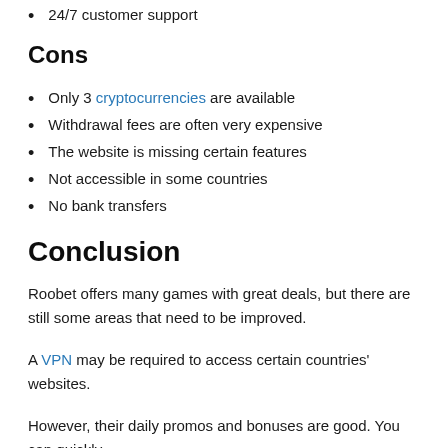24/7 customer support
Cons
Only 3 cryptocurrencies are available
Withdrawal fees are often very expensive
The website is missing certain features
Not accessible in some countries
No bank transfers
Conclusion
Roobet offers many games with great deals, but there are still some areas that need to be improved.
A VPN may be required to access certain countries' websites.
However, their daily promos and bonuses are good. You can quickly